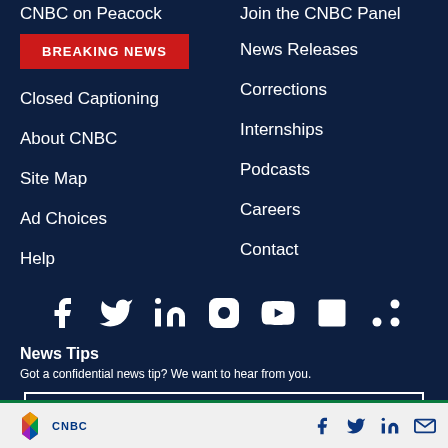CNBC on Peacock
Join the CNBC Panel
BREAKING NEWS
News Releases
Closed Captioning
Corrections
About CNBC
Internships
Site Map
Podcasts
Ad Choices
Careers
Help
Contact
[Figure (infographic): Row of social media icons: Facebook, Twitter, LinkedIn, Instagram, YouTube, Apple News, RSS]
News Tips
Got a confidential news tip? We want to hear from you.
CNBC logo with social icons: Facebook, Twitter, LinkedIn, Email